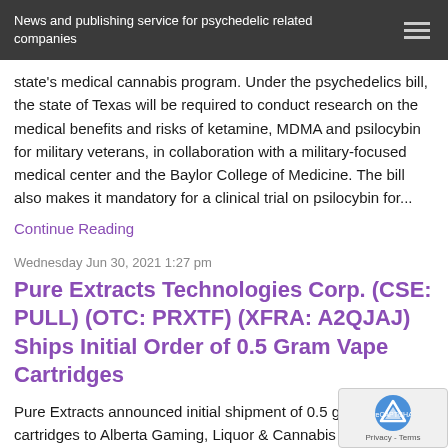News and publishing service for psychedelic related companies
state's medical cannabis program. Under the psychedelics bill, the state of Texas will be required to conduct research on the medical benefits and risks of ketamine, MDMA and psilocybin for military veterans, in collaboration with a military-focused medical center and the Baylor College of Medicine. The bill also makes it mandatory for a clinical trial on psilocybin for...
Continue Reading
Wednesday Jun 30, 2021 1:27 pm
Pure Extracts Technologies Corp. (CSE: PULL) (OTC: PRXTF) (XFRA: A2QJAJ) Ships Initial Order of 0.5 Gram Vape Cartridges
Pure Extracts announced initial shipment of 0.5 gram vape cartridges to Alberta Gaming, Liquor & Cannabis CBD vape market has experienced strong growth in recent times, with one market research firm forecasting sector to be worth over $28bn by 2027 Pure Extracts has simultaneously sought to broa SKU's within vape sector, commencing manufacture of lar gram FSO vape cartridge to better cater to changing cust demand patterns Pure Extracts Technologies (CSE: PULL) (OTC: